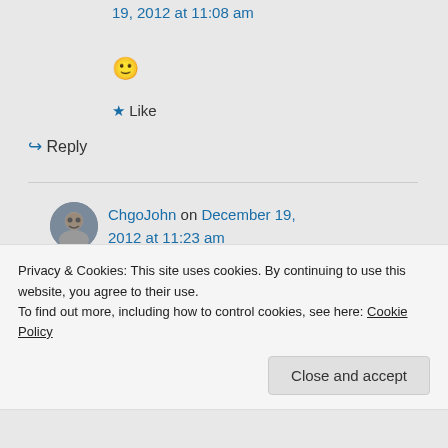19, 2012 at 11:08 am
[Figure (illustration): Smiley face emoji 🙂]
★ Like
↪ Reply
ChgoJohn on December 19, 2012 at 11:23 am
(Pssst. Don't tell Zia but I
Privacy & Cookies: This site uses cookies. By continuing to use this website, you agree to their use.
To find out more, including how to control cookies, see here: Cookie Policy
Close and accept